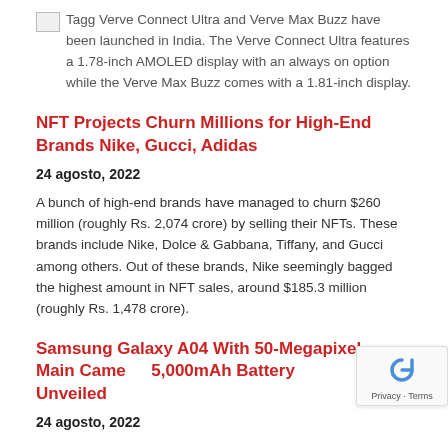Tagg Verve Connect Ultra and Verve Max Buzz have been launched in India. The Verve Connect Ultra features a 1.78-inch AMOLED display with an always on option while the Verve Max Buzz comes with a 1.81-inch display.
NFT Projects Churn Millions for High-End Brands Nike, Gucci, Adidas
24 agosto, 2022
A bunch of high-end brands have managed to churn $260 million (roughly Rs. 2,074 crore) by selling their NFTs. These brands include Nike, Dolce & Gabbana, Tiffany, and Gucci among others. Out of these brands, Nike seemingly bagged the highest amount in NFT sales, around $185.3 million (roughly Rs. 1,478 crore).
Samsung Galaxy A04 With 50-Megapixel Main Camera, 5,000mAh Battery Unveiled
24 agosto, 2022